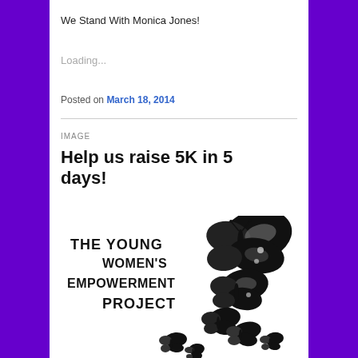We Stand With Monica Jones!
Loading...
Posted on March 18, 2014
IMAGE
Help us raise 5K in 5 days!
[Figure (illustration): The Young Women's Empowerment Project logo with butterflies in black and white]